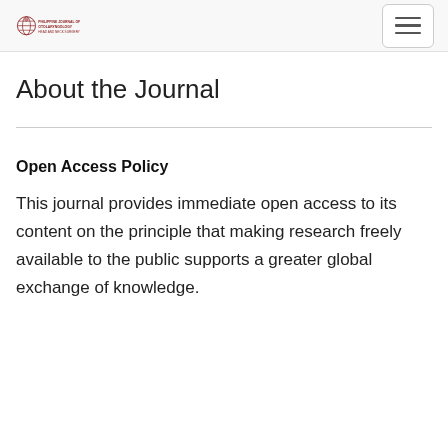[Journal logo] [Navigation menu button]
About the Journal
Open Access Policy
This journal provides immediate open access to its content on the principle that making research freely available to the public supports a greater global exchange of knowledge.